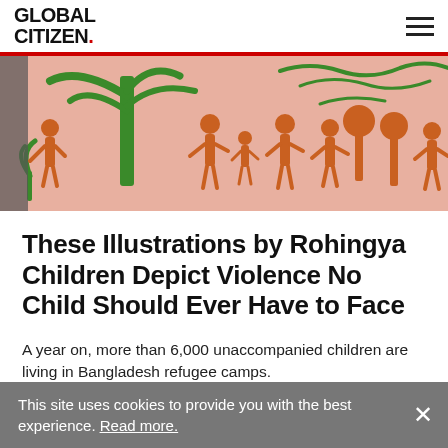GLOBAL CITIZEN.
[Figure (illustration): Child's crayon drawing on pink background showing orange figures of people and green trees/plants, depicting scenes from Rohingya refugee crisis]
These Illustrations by Rohingya Children Depict Violence No Child Should Ever Have to Face
A year on, more than 6,000 unaccompanied children are living in Bangladesh refugee camps.
BY JANA SEPEHR AND IMOGEN CALDERWOOD
This site uses cookies to provide you with the best experience. Read more.